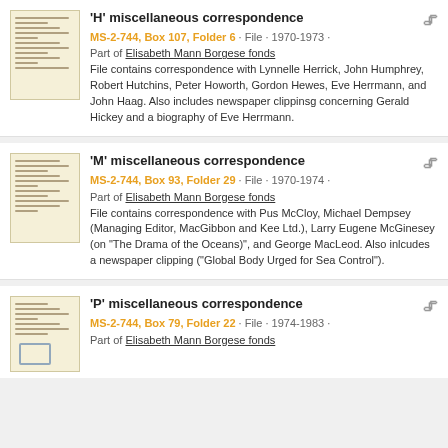'H' miscellaneous correspondence — MS-2-744, Box 107, Folder 6 · File · 1970-1973 · Part of Elisabeth Mann Borgese fonds — File contains correspondence with Lynnelle Herrick, John Humphrey, Robert Hutchins, Peter Howorth, Gordon Hewes, Eve Herrmann, and John Haag. Also includes newspaper clippinsg concerning Gerald Hickey and a biography of Eve Herrmann.
'M' miscellaneous correspondence — MS-2-744, Box 93, Folder 29 · File · 1970-1974 · Part of Elisabeth Mann Borgese fonds — File contains correspondence with Pus McCloy, Michael Dempsey (Managing Editor, MacGibbon and Kee Ltd.), Larry Eugene McGinesey (on "The Drama of the Oceans)", and George MacLeod. Also inlcudes a newspaper clipping ("Global Body Urged for Sea Control").
'P' miscellaneous correspondence — MS-2-744, Box 79, Folder 22 · File · 1974-1983 · Part of Elisabeth Mann Borgese fonds